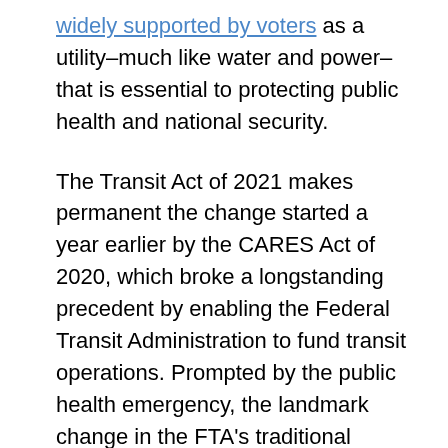widely supported by voters as a utility–much like water and power–that is essential to protecting public health and national security.
The Transit Act of 2021 makes permanent the change started a year earlier by the CARES Act of 2020, which broke a longstanding precedent by enabling the Federal Transit Administration to fund transit operations. Prompted by the public health emergency, the landmark change in the FTA's traditional funding role created a strong rationale for the Transit Act of 2021. Both the 2020 and 2021 legislation now equip transit providers with the resources to run service at a frequency, flexibility, and capacity that serves the diverse needs of their communities.